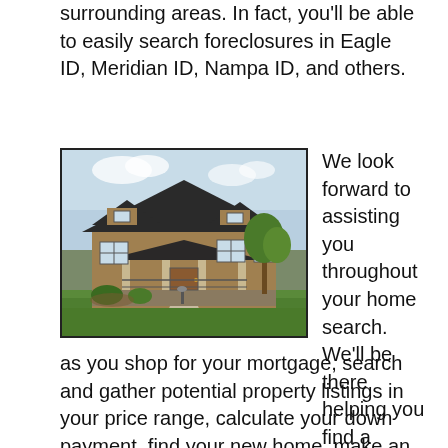surrounding areas. In fact, you'll be able to easily search foreclosures in Eagle ID, Meridian ID, Nampa ID, and others.
[Figure (photo): Exterior photo of a two-story craftsman-style house with brown/tan siding, dark roof, front porch with columns, green lawn, and landscaping.]
We look forward to assisting you throughout your home search. We'll be there helping you find a lender as you shop for your mortgage, search and gather potential property listings in your price range, calculate your down payment, find your new home, make an offer, wait for a response, counter offer if necessary, settle on a purchase price with an accepted offer (congrats by the
as you shop for your mortgage, search and gather potential property listings in your price range, calculate your down payment, find your new home, make an offer, wait for a response, counter offer if necessary, settle on a purchase price with an accepted offer (congrats by the